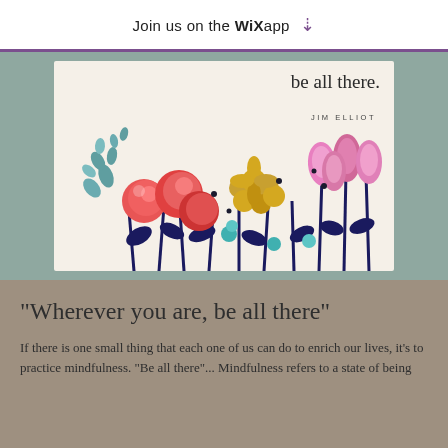Join us on the WiX app ⬇
[Figure (illustration): Watercolor-style illustration of colorful flowers (red, pink, gold, teal, navy) with script text 'be all there.' and attribution 'JIM ELLIOT' on a cream background, set within a teal-bordered frame.]
"Wherever you are, be all there"
If there is one small thing that each one of us can do to enrich our lives, it's to practice mindfulness. "Be all there"... Mindfulness refers to a state of being